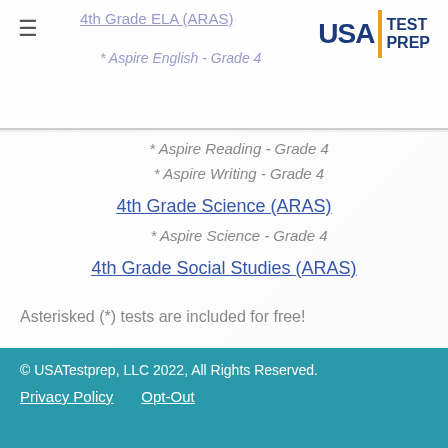4th Grade ELA (ARAS)
* Aspire English - Grade 4
* Aspire Reading - Grade 4
* Aspire Writing - Grade 4
4th Grade Science (ARAS)
* Aspire Science - Grade 4
4th Grade Social Studies (ARAS)
Asterisked (*) tests are included for free!
© USATestprep, LLC 2022, All Rights Reserved. Privacy Policy   Opt-Out